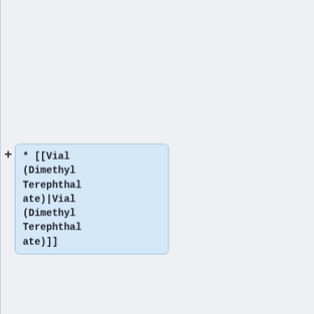[Figure (flowchart): A flowchart/tree diagram showing chemical process nodes. Visible nodes include: Beaker (Ethylene Glycol) node (partially cut off at top), Vial (Dimethyl Terephthalate) node, a pipe separator node '|', and a Bag (Amorphous PolyEthylene Terephthalate Pellets) node (partially cut off at bottom). Each node is represented as a blue rounded box with a '+' connector on the left.]